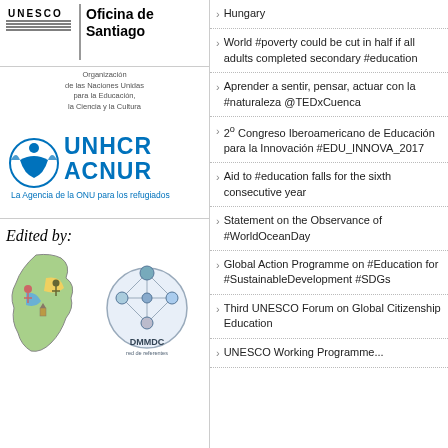[Figure (logo): UNESCO Oficina de Santiago logo with UNESCO text and horizontal lines, vertical divider, text 'Oficina de Santiago', and below: Organización de las Naciones Unidas para la Educación, la Ciencia y la Cultura]
[Figure (logo): UNHCR ACNUR logo with blue globe/figure icon and text 'UNHCR ACNUR - La Agencia de la ONU para los refugiados']
Edited by:
[Figure (illustration): Map of South America with child figures and landmarks]
[Figure (logo): DMMDC circular network logo]
Hungary
World #poverty could be cut in half if all adults completed secondary #education
Aprender a sentir, pensar, actuar con la #naturaleza @TEDxCuenca
2º Congreso Iberoamericano de Educación para la Innovación #EDU_INNOVA_2017
Aid to #education falls for the sixth consecutive year
Statement on the Observance of #WorldOceanDay
Global Action Programme on #Education for #SustainableDevelopment #SDGs
Third UNESCO Forum on Global Citizenship Education
UNESCO Working Programme...